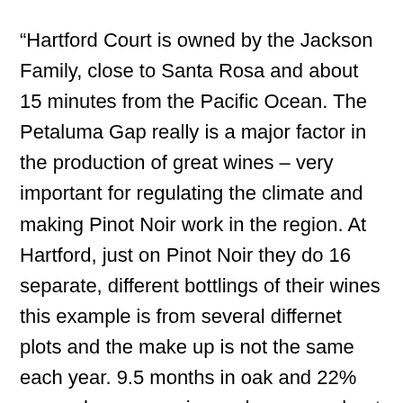“Hartford Court is owned by the Jackson Family, close to Santa Rosa and about 15 minutes from the Pacific Ocean. The Petaluma Gap really is a major factor in the production of great wines – very important for regulating the climate and making Pinot Noir work in the region. At Hartford, just on Pinot Noir they do 16 separate, different bottlings of their wines this example is from several differnet plots and the make up is not the same each year. 9.5 months in oak and 22% new oak, very precise and so open about what they do. Important to not ethat 92% of the fruit was picked before the wild fires so no worry about taint on the wines.” Stefan Neumann MS